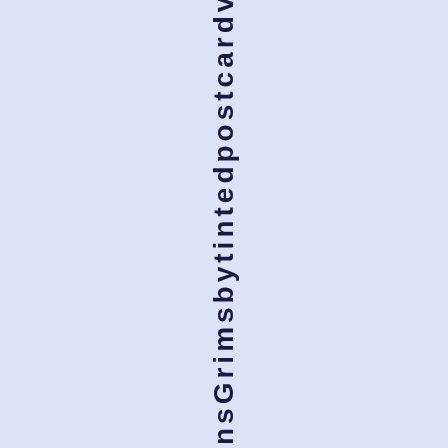&SonsGrimsby tinted postcard view